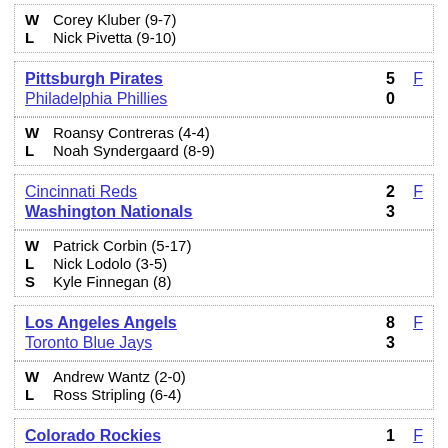W Corey Kluber (9-7)
L Nick Pivetta (9-10)
Pittsburgh Pirates 5 F
Philadelphia Phillies 0
W Roansy Contreras (4-4)
L Noah Syndergaard (8-9)
Cincinnati Reds 2 F
Washington Nationals 3
W Patrick Corbin (5-17)
L Nick Lodolo (3-5)
S Kyle Finnegan (8)
Los Angeles Angels 8 F
Toronto Blue Jays 3
W Andrew Wantz (2-0)
L Ross Stripling (6-4)
Colorado Rockies 1 F